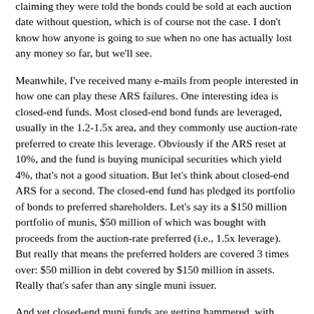claiming they were told the bonds could be sold at each auction date without question, which is of course not the case. I don't know how anyone is going to sue when no one has actually lost any money so far, but we'll see.
Meanwhile, I've received many e-mails from people interested in how one can play these ARS failures. One interesting idea is closed-end funds. Most closed-end bond funds are leveraged, usually in the 1.2-1.5x area, and they commonly use auction-rate preferred to create this leverage. Obviously if the ARS reset at 10%, and the fund is buying municipal securities which yield 4%, that's not a good situation. But let's think about closed-end ARS for a second. The closed-end fund has pledged its portfolio of bonds to preferred shareholders. Let's say its a $150 million portfolio of munis, $50 million of which was bought with proceeds from the auction-rate preferred (i.e., 1.5x leverage). But really that means the preferred holders are covered 3 times over: $50 million in debt covered by $150 million in assets. Really that's safer than any single muni issuer.
And yet closed-end muni funds are getting hammered, with several falling more than 5% on the day, but the worst...